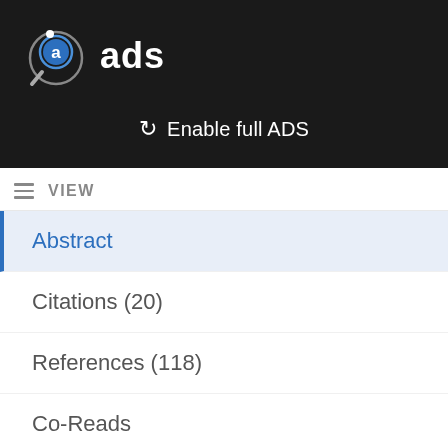[Figure (logo): ADS (Astrophysics Data System) logo with magnifying glass and 'a' icon, followed by text 'ads' in white]
↻ Enable full ADS
VIEW
Abstract
Citations (20)
References (118)
Co-Reads
Similar Papers
Volume Content
Graphics